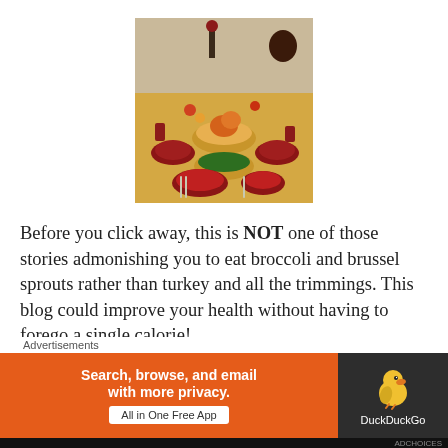[Figure (photo): A Thanksgiving dinner table set with multiple dishes including turkey, vegetables, and various side dishes, with a yellow tablecloth and window in background.]
Before you click away, this is NOT one of those stories admonishing you to eat broccoli and brussel sprouts rather than turkey and all the trimmings.  This blog could improve your health without having to forego a single calorie!
Will Grandma be coming up from Florida during
Thanksgiving will Great Uncle Tom be joining us for
Advertisements
[Figure (screenshot): DuckDuckGo advertisement banner: orange left panel saying 'Search, browse, and email with more privacy. All in One Free App' and dark right panel with DuckDuckGo duck logo and text 'DuckDuckGo'.]